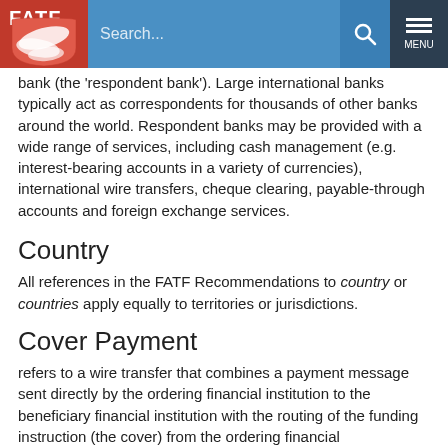FATF | Search... | MENU
bank (the 'respondent bank'). Large international banks typically act as correspondents for thousands of other banks around the world. Respondent banks may be provided with a wide range of services, including cash management (e.g. interest-bearing accounts in a variety of currencies), international wire transfers, cheque clearing, payable-through accounts and foreign exchange services.
Country
All references in the FATF Recommendations to country or countries apply equally to territories or jurisdictions.
Cover Payment
refers to a wire transfer that combines a payment message sent directly by the ordering financial institution to the beneficiary financial institution with the routing of the funding instruction (the cover) from the ordering financial